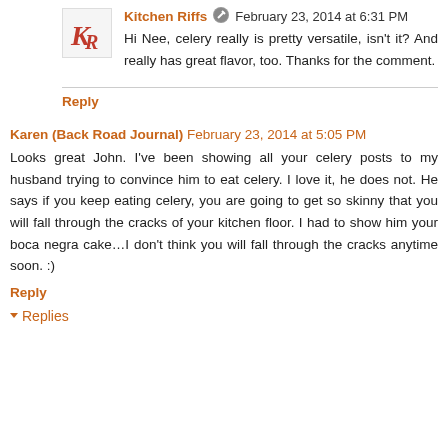Kitchen Riffs · February 23, 2014 at 6:31 PM
Hi Nee, celery really is pretty versatile, isn't it? And really has great flavor, too. Thanks for the comment.
Reply
Karen (Back Road Journal) February 23, 2014 at 5:05 PM
Looks great John. I've been showing all your celery posts to my husband trying to convince him to eat celery. I love it, he does not. He says if you keep eating celery, you are going to get so skinny that you will fall through the cracks of your kitchen floor. I had to show him your boca negra cake…I don't think you will fall through the cracks anytime soon. :)
Reply
Replies